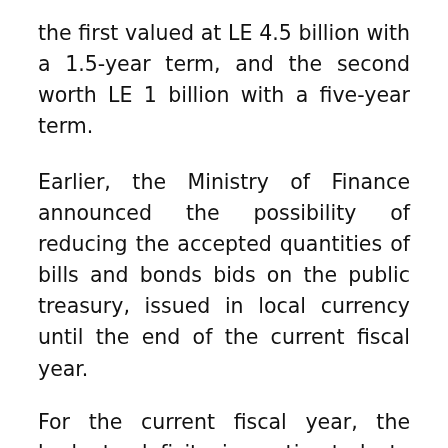the first valued at LE 4.5 billion with a 1.5-year term, and the second worth LE 1 billion with a five-year term.
Earlier, the Ministry of Finance announced the possibility of reducing the accepted quantities of bills and bonds bids on the public treasury, issued in local currency until the end of the current fiscal year.
For the current fiscal year, the budget deficit is estimated to record 5.7 percent of gross domestic product (GDP) in light of the Russian-Ukrainian crisis, planned by the ministry to be financed through treasury bills and bonds and through international and Arab loans.